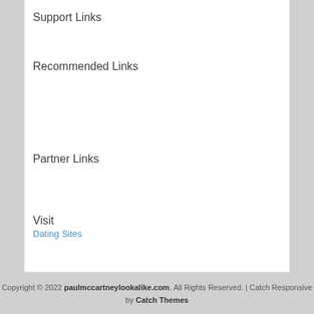Support Links
Recommended Links
Partner Links
Visit
Dating Sites
Copyright © 2022 paulmccartneylookalike.com. All Rights Reserved. | Catch Responsive by Catch Themes